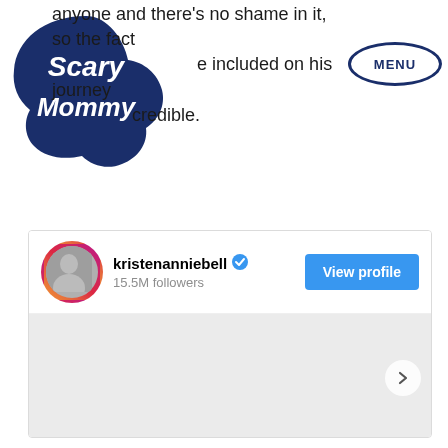[Figure (logo): Scary Mommy logo in dark navy blue, stylized cursive text inside a cloud/bubble shape]
anyone and there's no shame in it, so the fact that he included on his journey was incredible.
[Figure (other): MENU button in navy oval outline]
[Figure (screenshot): Instagram embed card for kristenanniebell with 15.5M followers, View profile button, and a gray image area with a next arrow button]